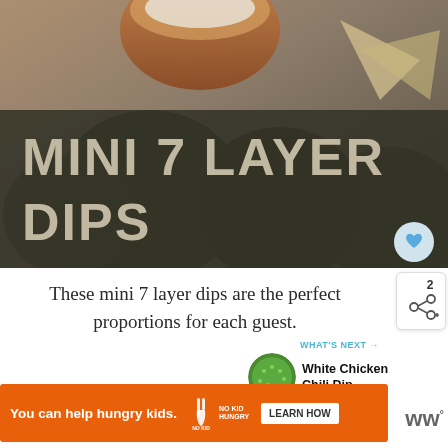[Figure (photo): Photo of mini 7 layer dips with tortilla chips and a bowl of dip on a dark stone surface. A dark semi-transparent banner overlay reads MINI 7 LAYER DIPS in large bold uppercase letters. A circular heart/favorite button appears at the bottom right of the image.]
These mini 7 layer dips are the perfe... proportions for each guest.
[Figure (other): Share button badge showing number 2 and a share icon]
[Figure (other): What's Next widget showing a circular thumbnail of White Chicken Chili Dip with label WHAT'S NEXT and the recipe title]
[Figure (other): Orange advertisement banner: 'You can help hungry kids.' with No Kid Hungry logo and LEARN HOW button. A close X button in top right.]